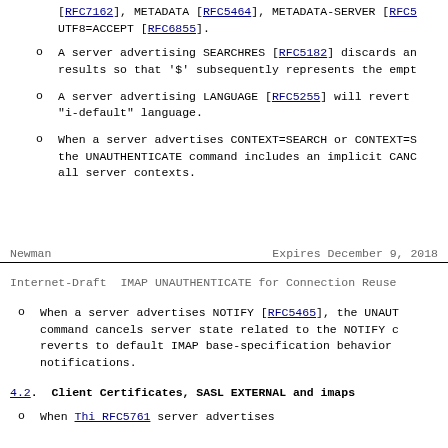[RFC7162], METADATA [RFC5464], METADATA-SERVER [RFC5 UTF8=ACCEPT [RFC6855].
A server advertising SEARCHRES [RFC5182] discards an results so that '$' subsequently represents the empt
A server advertising LANGUAGE [RFC5255] will revert "i-default" language.
When a server advertises CONTEXT=SEARCH or CONTEXT=S the UNAUTHENTICATE command includes an implicit CANC all server contexts.
Newman                        Expires December 9, 2018
Internet-Draft   IMAP UNAUTHENTICATE for Connection Reuse
When a server advertises NOTIFY [RFC5465], the UNAUT command cancels server state related to the NOTIFY c reverts to default IMAP base-specification behavior notifications.
4.2. Client Certificates, SASL EXTERNAL and imaps